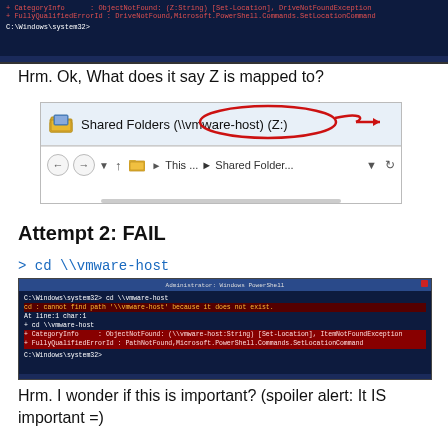[Figure (screenshot): Windows PowerShell terminal showing DriveNotFoundException error for Z: drive. CategoryInfo: ObjectNotFound. FullyQualifiedErrorId: DriveNotFound,Microsoft.PowerShell.Commands.SetLocationCommand. Prompt: C:\Windows\system32>]
Hrm. Ok, What does it say Z is mapped to?
[Figure (screenshot): Windows File Explorer window showing title 'Shared Folders (\\vmware-host) (Z:)' with a red hand-drawn circle around '(\\vmware-host)' and a red arrow pointing to the right. Address bar shows: This ... > Shared Folder...]
Attempt 2: FAIL
> cd \\vmware-host
[Figure (screenshot): Windows PowerShell terminal showing: C:\Windows\system32> cd \\vmware-host, then error: cd : cannot find path '\\vmware-host' because it does not exist. At line:1 char:1. CategoryInfo: ObjectNotFound. FullyQualifiedErrorId: PathNotFound,Microsoft.PowerShell.Commands.SetLocationCommand. Prompt: C:\Windows\system32>]
Hrm. I wonder if this is important? (spoiler alert: It IS important =)